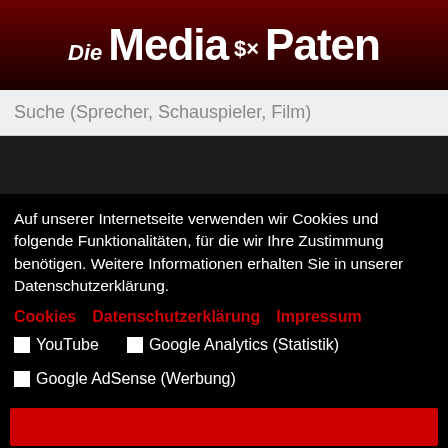Die Media® Paten
Suche (Sprecher, Schauspieler, Film)
Auf unserer Internetseite verwenden wir Cookies und folgende Funktionalitäten, für die wir Ihre Zustimmung benötigen. Weitere Informationen erhalten Sie in unserer Datenschutzerklärung.
Cookies    Datenschutzerklärung    Impressum
☐ YouTube    ☐ Google Analytics (Statistik)
☐ Google AdSense (Werbung)
[Figure (other): Two red button placeholders at the bottom of the cookie consent dialog]